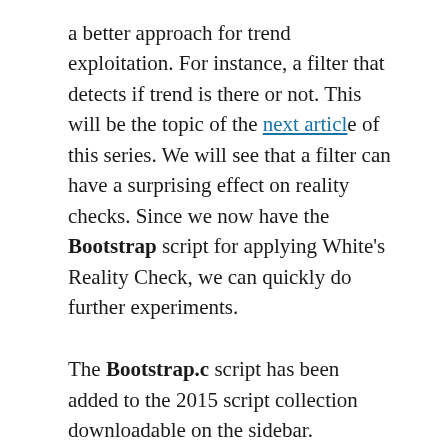a better approach for trend exploitation. For instance, a filter that detects if trend is there or not. This will be the topic of the next article of this series. We will see that a filter can have a surprising effect on reality checks. Since we now have the Bootstrap script for applying White's Reality Check, we can quickly do further experiments.
The Bootstrap.c script has been added to the 2015 script collection downloadable on the sidebar.
Conclusion